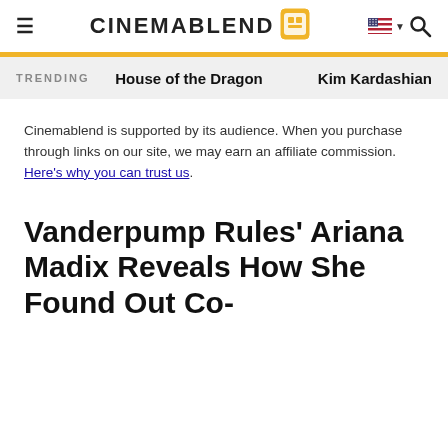CinemaBlend
TRENDING   House of the Dragon   Kim Kardashian
Cinemablend is supported by its audience. When you purchase through links on our site, we may earn an affiliate commission. Here's why you can trust us.
Vanderpump Rules' Ariana Madix Reveals How She Found Out Co-